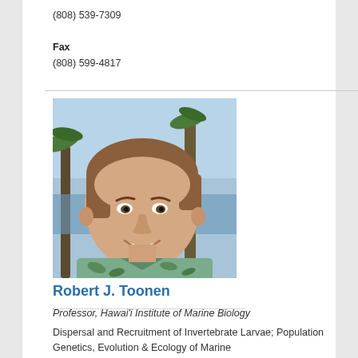(808) 539-7309
Fax
(808) 599-4817
[Figure (photo): Headshot photo of Robert J. Toonen, a man with brown hair smiling, wearing a floral shirt, with palm trees and ocean in the background.]
Robert J. Toonen
Professor, Hawai'i Institute of Marine Biology
Dispersal and Recruitment of Invertebrate Larvae; Population Genetics, Evolution & Ecology of Marine